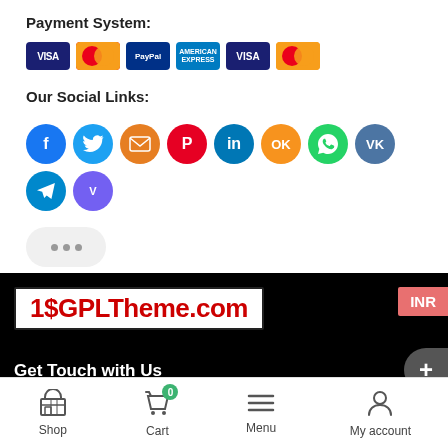Payment System:
[Figure (illustration): Payment icons row: Visa, Mastercard, PayPal, American Express, Visa, Mastercard]
Our Social Links:
[Figure (illustration): Social media icons row: Facebook, Twitter, Email, Pinterest, LinkedIn, Odnoklassniki, WhatsApp, VK, Telegram, Viber]
[Figure (other): Three dots bubble/chat indicator]
[Figure (logo): 1$GPLTheme.com logo on black background with INR badge and + button]
Get Touch with Us
Shop  Cart  Menu  My account